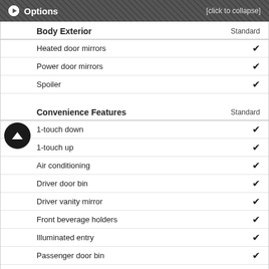Options [click to collapse]
|  | Standard |
| --- | --- |
| Body Exterior | Standard |
| Heated door mirrors | ✓ |
| Power door mirrors | ✓ |
| Spoiler | ✓ |
| Convenience Features | Standard |
| 1-touch down | ✓ |
| 1-touch up | ✓ |
| Air conditioning | ✓ |
| Driver door bin | ✓ |
| Driver vanity mirror | ✓ |
| Front beverage holders | ✓ |
| Illuminated entry | ✓ |
| Passenger door bin | ✓ |
| Passenger vanity mirror | ✓ |
| Power moonroof | ✓ |